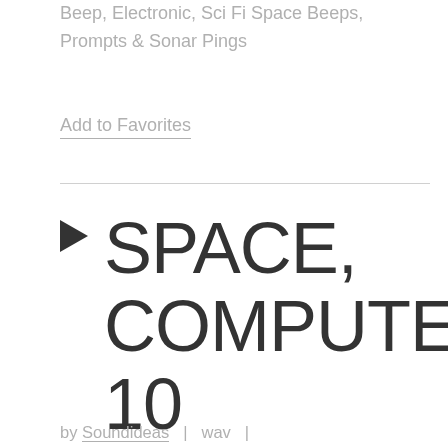Description: Space Ship Console: Beep, Electronic, Sci Fi Space Beeps, Prompts & Sonar Pings
Add to Favorites
▶ SPACE, COMPUTER 10
by Soundideas | wav |